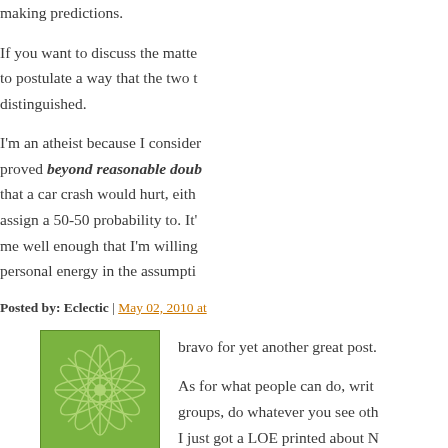making predictions.
If you want to discuss the matte to postulate a way that the two t distinguished.
I'm an atheist because I consider proved beyond reasonable doub that a car crash would hurt, eith assign a 50-50 probability to. It' me well enough that I'm willing personal energy in the assumpti
Posted by: Eclectic | May 02, 2010 at
[Figure (illustration): Green decorative square avatar with a starburst/snowflake geometric pattern in lighter green on a medium green background]
bravo for yet another great post.
As for what people can do, writ groups, do whatever you see oth I just got a LOE printed about N